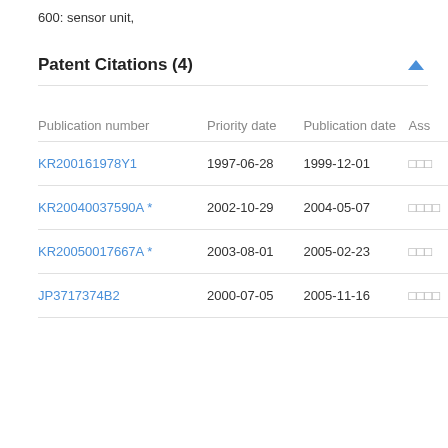600: sensor unit,
Patent Citations (4)
| Publication number | Priority date | Publication date | Ass |
| --- | --- | --- | --- |
| KR200161978Y1 | 1997-06-28 | 1999-12-01 | □□□ |
| KR20040037590A * | 2002-10-29 | 2004-05-07 | □□□□ |
| KR20050017667A * | 2003-08-01 | 2005-02-23 | □□□ |
| JP3717374B2 | 2000-07-05 | 2005-11-16 | □□□□ |